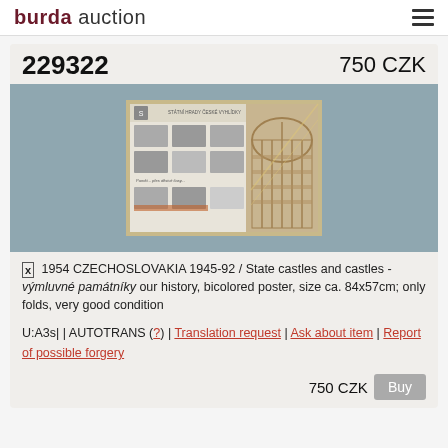burda auction
229322   750 CZK
[Figure (photo): Czechoslovakia 1954 stamp sheet showing state castles and castles, bicolored poster with architectural imagery]
1954 CZECHOSLOVAKIA 1945-92 / State castles and castles - výmluvné památníky our history, bicolored poster, size ca. 84x57cm; only folds, very good condition
U:A3s| | AUTOTRANS (?) | Translation request | Ask about item | Report of possible forgery
750 CZK  Buy